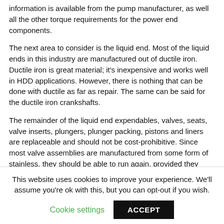information is available from the pump manufacturer, as well all the other torque requirements for the power end components.
The next area to consider is the liquid end. Most of the liquid ends in this industry are manufactured out of ductile iron. Ductile iron is great material; it's inexpensive and works well in HDD applications. However, there is nothing that can be done with ductile as far as repair. The same can be said for the ductile iron crankshafts.
The remainder of the liquid end expendables, valves, seats, valve inserts, plungers, plunger packing, pistons and liners are replaceable and should not be cost-prohibitive. Since most valve assemblies are manufactured from some form of stainless, they should be able to run again, provided they aren't washed and are equipped with new valve inserts. The plungers in most cases are some form of ceramic:
This website uses cookies to improve your experience. We'll assume you're ok with this, but you can opt-out if you wish.
Cookie settings | ACCEPT